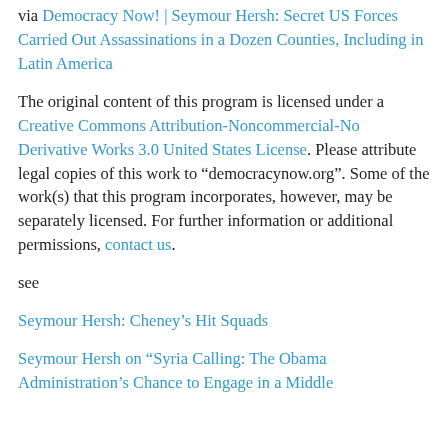via Democracy Now! | Seymour Hersh: Secret US Forces Carried Out Assassinations in a Dozen Counties, Including in Latin America
The original content of this program is licensed under a Creative Commons Attribution-Noncommercial-No Derivative Works 3.0 United States License. Please attribute legal copies of this work to “democracynow.org”. Some of the work(s) that this program incorporates, however, may be separately licensed. For further information or additional permissions, contact us.
see
Seymour Hersh: Cheney’s Hit Squads
Seymour Hersh on “Syria Calling: The Obama Administration’s Chance to Engage in a Middle